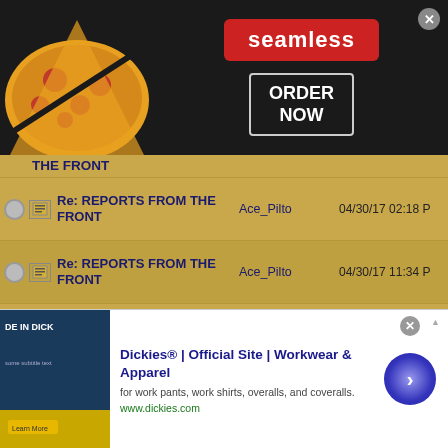[Figure (screenshot): Seamless food delivery advertisement banner with pizza image on left, seamless logo in red badge center, ORDER NOW button on right]
THE FRONT
Re: REPORTS FROM THE FRONT | Ace_Pilto | 04/30/17 02:18 PM
Re: REPORTS FROM THE FRONT | Ace_Pilto | 04/30/17 11:34 PM
Re: REPORTS FROM THE FRONT | AceMedic88 | 04/30/17 11:42 PM
Re: REPORTS FROM THE FRONT | Ace_Pilto | 04/30/17 11:54 PM
Re: REPORTS FROM THE FRONT | Robert_Wiggins | 05/01/17 01:10 PM
Re: REPORTS FROM THE FRONT | Ace_Pilto | 06/02/17 10:12 AM
[Figure (screenshot): Dickies workwear advertisement banner with book/product image on left, Dickies Official Site headline, description text, www.dickies.com URL, and blue circular arrow button]